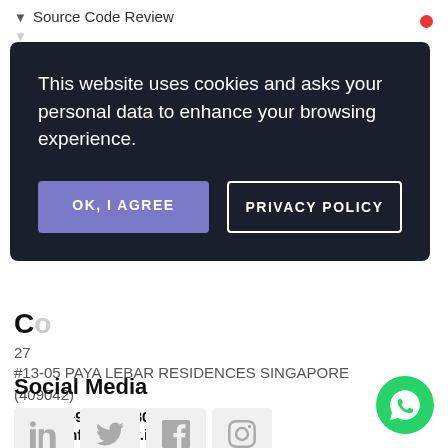Source Code Review
[Figure (screenshot): Cookie consent overlay dialog with dark background (#1a1f2e). Contains message 'This website uses cookies and asks your personal data to enhance your browsing experience.' with two buttons: 'OK, I AGREE' (purple) and 'PRIVACY POLICY' (outlined).]
27
#13-05 PAYA LEBAR RESIDENCES SINGAPORE (409042)
Mobile: +91 951 380 5401
Email : info@craw.in
website : www.crawsecurity.com
Social Media
[Figure (other): Row of social media icons: LinkedIn, Twitter, Facebook, Instagram — each in a light grey rounded square box.]
[Figure (other): Green WhatsApp circular button with white WhatsApp icon and a red notification dot in the top-right corner.]